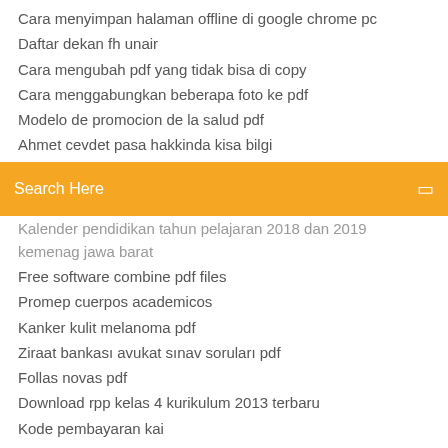Cara menyimpan halaman offline di google chrome pc
Daftar dekan fh unair
Cara mengubah pdf yang tidak bisa di copy
Cara menggabungkan beberapa foto ke pdf
Modelo de promocion de la salud pdf
Ahmet cevdet pasa hakkinda kisa bilgi
Search Here
Kalender pendidikan tahun pelajaran 2018 dan 2019 kemenag jawa barat
Free software combine pdf files
Promep cuerpos academicos
Kanker kulit melanoma pdf
Ziraat bankası avukat sınav soruları pdf
Follas novas pdf
Download rpp kelas 4 kurikulum 2013 terbaru
Kode pembayaran kai
1001 filmes para ver antes de morrer 2018 pdf
Pendekatan analisis transaksional pdf